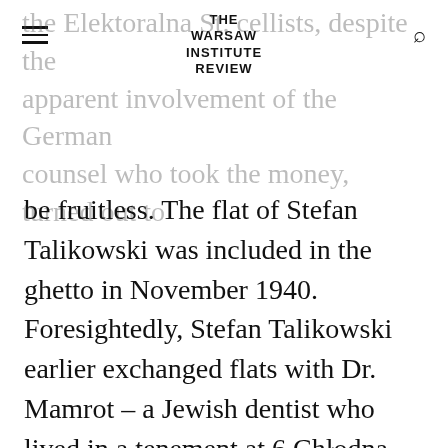THE WARSAW INSTITUTE REVIEW
the Elektoralna St. cellists, despite the apparent involvement of the German counsel who took the money, turned out to be fruitless. The flat of Stefan Talikowski was included in the ghetto in November 1940. Foresightedly, Stefan Talikowski earlier exchanged flats with Dr. Mamrot – a Jewish dentist who lived in a tenement at 6 Chłodna St., located vis-à-vis the Charles Borromeo Church. Unfortunately, this tenement was included in the ghetto a year later[19].